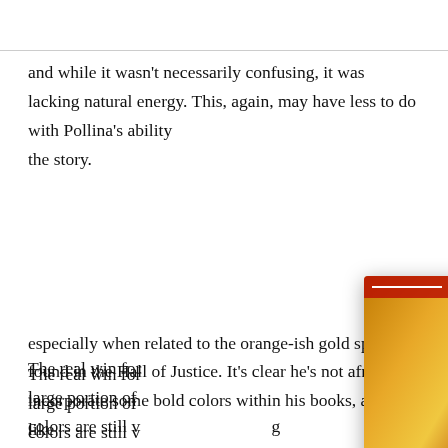and while it wasn't necessarily confusing, it was lacking natural energy. This, again, may have less to do with Pollina's ability [to draw] than it does with the nature of the story.
[Figure (screenshot): A popup/overlay showing a comic book cover for 'Dark Crisis: Young Justice #3 review' with an orange/red DC Comics themed image, close button, and navigation arrow.]
The real win for [the colorist] is that a large portion of [the issue's] colors are still vivid and energetic, especially when related to the orange-ish gold spikes found in the Hall of Justice. It's clear he's not afraid to incorporate some bold colors within his books, and I like